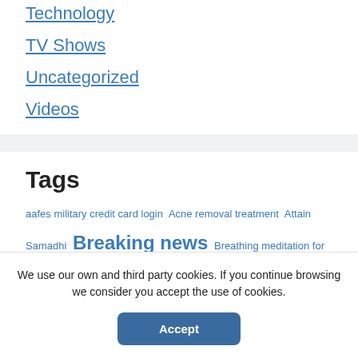Technology
TV Shows
Uncategorized
Videos
Tags
aafes military credit card login  Acne removal treatment  Attain Samadhi  Breaking news  Breathing meditation for beginners  Buddhist meditation techniques  Create Xoom account
We use our own and third party cookies. If you continue browsing we consider you accept the use of cookies.